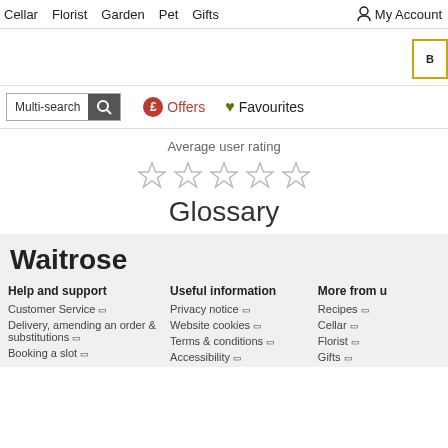Cellar  Florist  Garden  Pet  Gifts  My Account
Multi-search  £ Offers  ♥ Favourites
Average user rating
[Figure (other): Five empty star rating icons]
Glossary
Waitrose
Help and support
Customer Service ⧉
Delivery, amending an order & substitutions ⧉
Booking a slot ⧉
Useful information
Privacy notice ⧉
Website cookies ⧉
Terms & conditions ⧉
Accessibility ⧉
More from us
Recipes ⧉
Cellar ⧉
Florist ⧉
Gifts ⧉